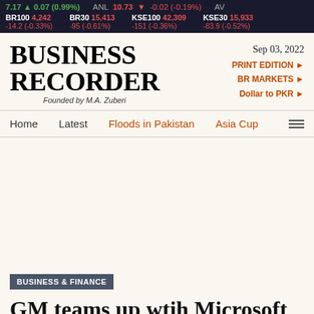7.17 ▲ 0.07 (0.99%) ANL 10.73 ▼ -0.02 (-0.19%) AV
BR100 4,242 -14.2 (-0.33%) BR30 15,413 -95 (-0.61%) KSE100 42,309 -151 (-0.36%) KSE30 15,933 -83.9 (-0.52%)
[Figure (logo): Business Recorder logo with 'Founded by M.A. Zuberi' tagline]
Sep 03, 2022
PRINT EDITION ►
BR MARKETS ►
Dollar to PKR ►
Home   Latest   Floods in Pakistan   Asia Cup
BUSINESS & FINANCE
GM teams up wtih Microsoft on Cruise self-driving vehicle